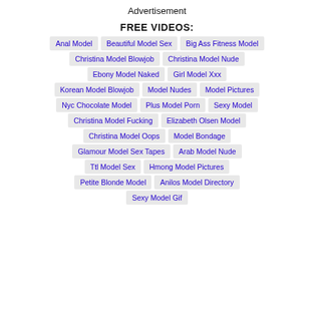Advertisement
FREE VIDEOS:
Anal Model
Beautiful Model Sex
Big Ass Fitness Model
Christina Model Blowjob
Christina Model Nude
Ebony Model Naked
Girl Model Xxx
Korean Model Blowjob
Model Nudes
Model Pictures
Nyc Chocolate Model
Plus Model Porn
Sexy Model
Christina Model Fucking
Elizabeth Olsen Model
Christina Model Oops
Model Bondage
Glamour Model Sex Tapes
Arab Model Nude
Ttl Model Sex
Hmong Model Pictures
Petite Blonde Model
Anilos Model Directory
Sexy Model Gif